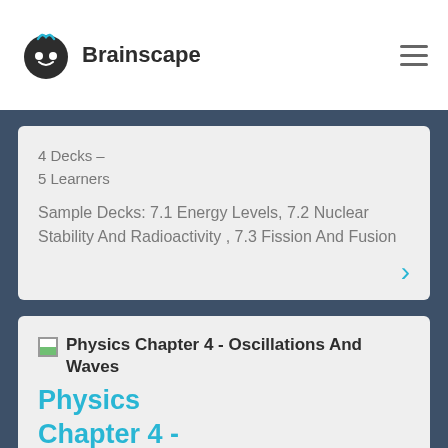Brainscape
4 Decks –
5 Learners
Sample Decks: 7.1 Energy Levels, 7.2 Nuclear Stability And Radioactivity , 7.3 Fission And Fusion
Physics Chapter 4 - Oscillations And Waves
Physics Chapter 4 -